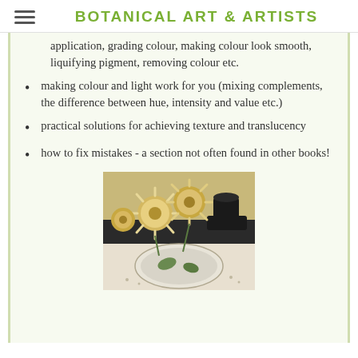BOTANICAL ART & ARTISTS
application, grading colour, making colour look smooth, liquifying pigment, removing colour etc.
making colour and light work for you (mixing complements, the difference between hue, intensity and value etc.)
practical solutions for achieving texture and translucency
how to fix mistakes - a section not often found in other books!
[Figure (photo): A botanical still life photograph showing yellow-cream chrysanthemum flowers arranged with decorative plates and dark ceramic vessels on a table]